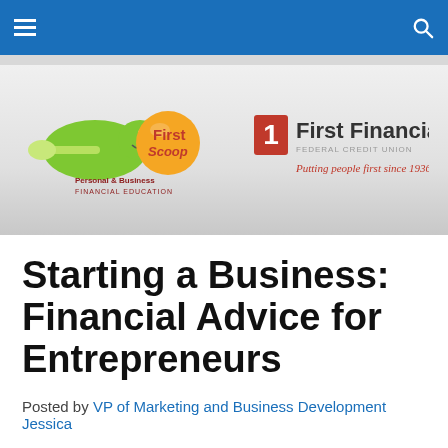Navigation bar with hamburger menu and search icon
[Figure (logo): First Scoop Personal & Business Financial Education logo with green creature and orange scoop graphic, alongside First Financial Federal Credit Union logo with red numeral 1 and tagline 'Putting people first since 1936.']
Starting a Business: Financial Advice for Entrepreneurs
Posted by VP of Marketing and Business Development Jessica